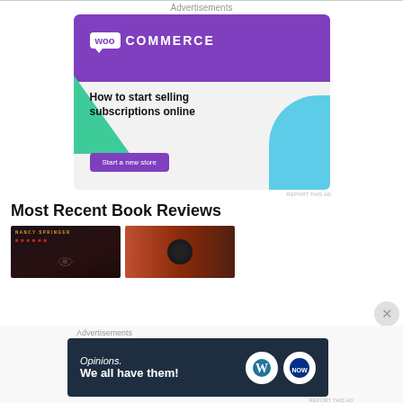Advertisements
[Figure (screenshot): WooCommerce advertisement banner showing purple header with WooCommerce logo, green triangle shape, blue shape, text 'How to start selling subscriptions online', and 'Start a new store' button]
REPORT THIS AD
Most Recent Book Reviews
[Figure (photo): Two book covers: left shows 'Nancy Springer' in dark style, right shows an orange/red cover with a dark circular element]
Advertisements
[Figure (screenshot): WordPress.com advertisement: 'Opinions. We all have them!' with WordPress and other logos on dark navy background]